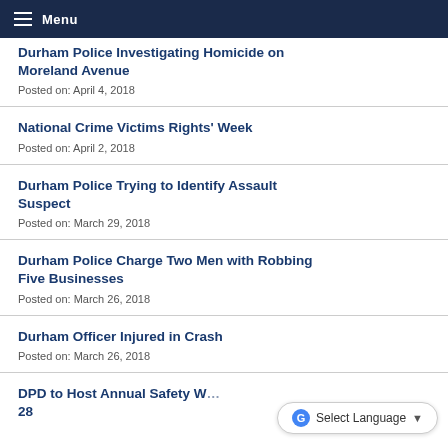Menu
Durham Police Investigating Homicide on Moreland Avenue
Posted on: April 4, 2018
National Crime Victims Rights' Week
Posted on: April 2, 2018
Durham Police Trying to Identify Assault Suspect
Posted on: March 29, 2018
Durham Police Charge Two Men with Robbing Five Businesses
Posted on: March 26, 2018
Durham Officer Injured in Crash
Posted on: March 26, 2018
DPD to Host Annual Safety W… 28